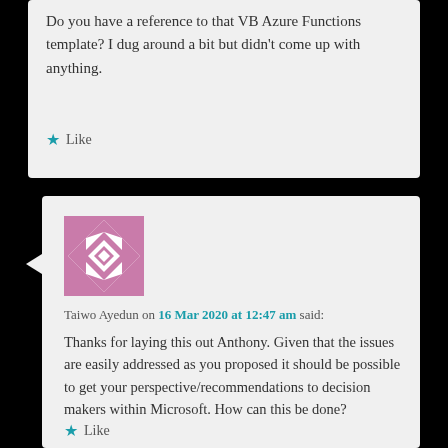Do you have a reference to that VB Azure Functions template? I dug around a bit but didn't come up with anything.
★ Like
[Figure (illustration): Avatar image with pink and white geometric diamond/quilt pattern]
Taiwo Ayedun on 16 Mar 2020 at 12:47 am said:
Thanks for laying this out Anthony. Given that the issues are easily addressed as you proposed it should be possible to get your perspective/recommendations to decision makers within Microsoft. How can this be done?
★ Like